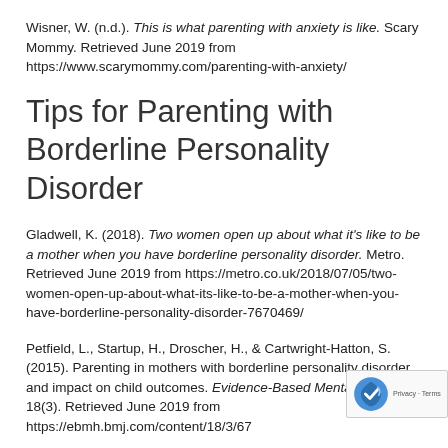Wisner, W. (n.d.). This is what parenting with anxiety is like. Scary Mommy. Retrieved June 2019 from https://www.scarymommy.com/parenting-with-anxiety/
Tips for Parenting with Borderline Personality Disorder
Gladwell, K. (2018). Two women open up about what it's like to be a mother when you have borderline personality disorder. Metro. Retrieved June 2019 from https://metro.co.uk/2018/07/05/two-women-open-up-about-what-its-like-to-be-a-mother-when-you-have-borderline-personality-disorder-7670469/
Petfield, L., Startup, H., Droscher, H., & Cartwright-Hatton, S. (2015). Parenting in mothers with borderline personality disorder and impact on child outcomes. Evidence-Based Mental Health, 18(3). Retrieved June 2019 from https://ebmh.bmj.com/content/18/3/67